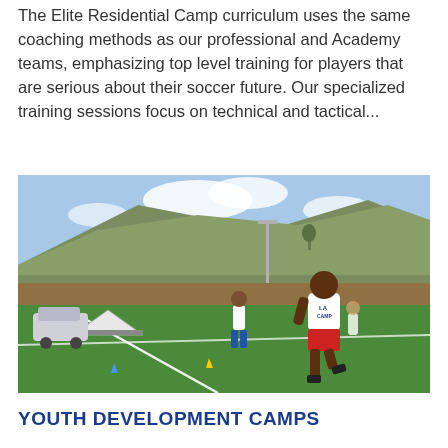The Elite Residential Camp curriculum uses the same coaching methods as our professional and Academy teams, emphasizing top level training for players that are serious about their soccer future. Our specialized training sessions focus on technical and tactical...
[Figure (photo): Children in white LA Galaxy camp shirts running on a green soccer field, with a hill and light poles in the background.]
YOUTH DEVELOPMENT CAMPS